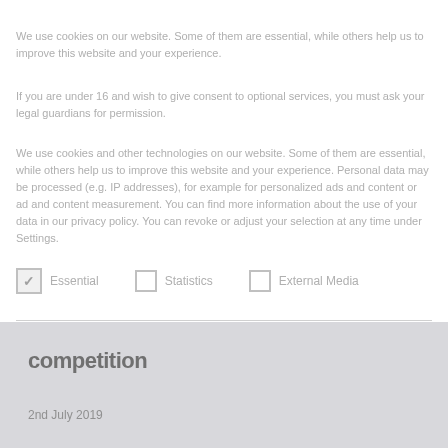We use cookies on our website. Some of them are essential, while others help us to improve this website and your experience.
If you are under 16 and wish to give consent to optional services, you must ask your legal guardians for permission.
We use cookies and other technologies on our website. Some of them are essential, while others help us to improve this website and your experience. Personal data may be processed (e.g. IP addresses), for example for personalized ads and content or ad and content measurement. You can find more information about the use of your data in our privacy policy. You can revoke or adjust your selection at any time under Settings.
Essential (checked)
Statistics (unchecked)
External Media (unchecked)
competition
2nd July 2019